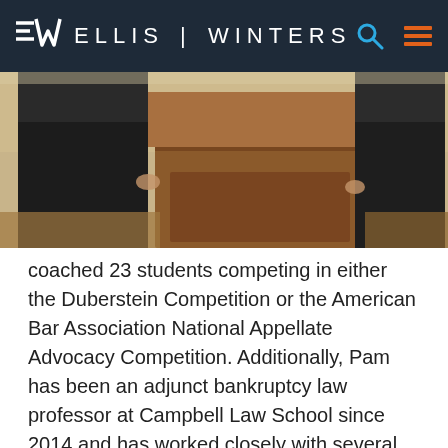ELLIS | WINTERS
[Figure (photo): Two people in dark suits standing at a wooden podium/lectern in a courtroom setting with wood paneling in the background.]
coached 23 students competing in either the Duberstein Competition or the American Bar Association National Appellate Advocacy Competition. Additionally, Pam has been an adjunct bankruptcy law professor at Campbell Law School since 2014 and has worked closely with several students in a mentorship capacity.
Pam also coached students competing in the...